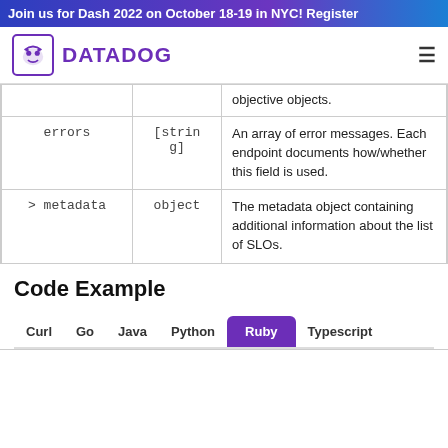Join us for Dash 2022 on October 18-19 in NYC! Register
[Figure (logo): Datadog logo with dog icon and purple DATADOG wordmark]
|  |  | objective objects. |
| errors | [string] | An array of error messages. Each endpoint documents how/whether this field is used. |
| > metadata | object | The metadata object containing additional information about the list of SLOs. |
Code Example
Curl  Go  Java  Python  Ruby  Typescript